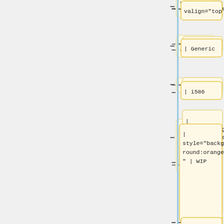[Figure (flowchart): A vertical tree/flowchart diagram showing wiki table markup nodes connected by a vertical blue line with horizontal dashes. Nodes contain code snippets: 'valign="top"', '| Generic', '| i586', '| style="background:orange" | WIP', (empty node), '|- bgcolor="#eeeeee" valign="top"', '| Intel', '| Core Duo / Core 2 Duo', '|']